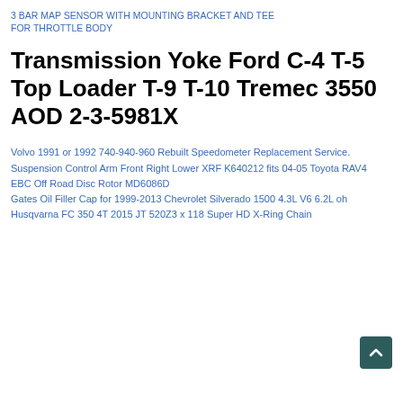3 BAR MAP SENSOR WITH MOUNTING BRACKET AND TEE FOR THROTTLE BODY
Transmission Yoke Ford C-4 T-5 Top Loader T-9 T-10 Tremec 3550 AOD 2-3-5981X
Volvo 1991 or 1992 740-940-960 Rebuilt Speedometer Replacement Service.
Suspension Control Arm Front Right Lower XRF K640212 fits 04-05 Toyota RAV4
EBC Off Road Disc Rotor MD6086D
Gates Oil Filler Cap for 1999-2013 Chevrolet Silverado 1500 4.3L V6 6.2L oh
Husqvarna FC 350 4T 2015 JT 520Z3 x 118 Super HD X-Ring Chain